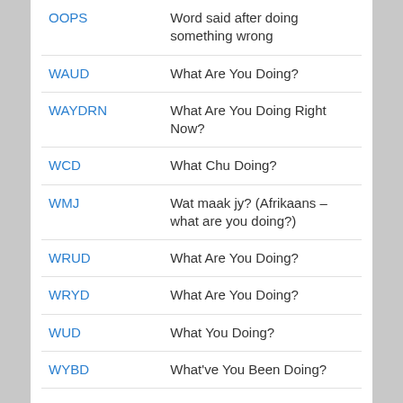| Abbreviation | Meaning |
| --- | --- |
| OOPS | Word said after doing something wrong |
| WAUD | What Are You Doing? |
| WAYDRN | What Are You Doing Right Now? |
| WCD | What Chu Doing? |
| WMJ | Wat maak jy? (Afrikaans – what are you doing?) |
| WRUD | What Are You Doing? |
| WRYD | What Are You Doing? |
| WUD | What You Doing? |
| WYBD | What've You Been Doing? |